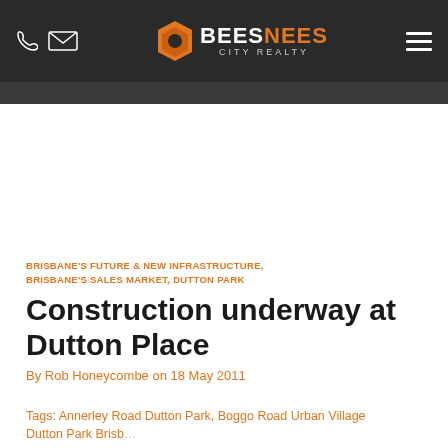BeesNees City Realty
BRISBANE'S FUTURE & NEW INFRASTRUCTURE, BRISBANE'S SALES MARKET, DUTTON PARK
Construction underway at Dutton Place
By Rob Honeycombe on 18 May 2011
Tags: Annerley Road Dutton Park, Boggo Road Urban Village, Dutton Park Brisbane, Dutton Park